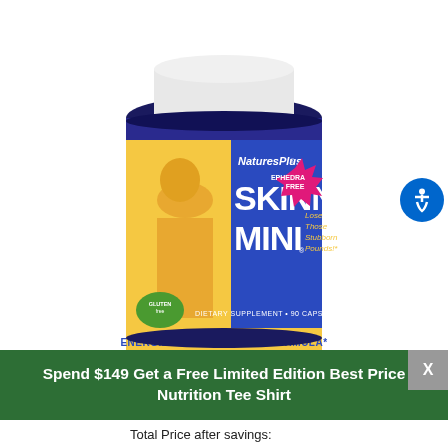[Figure (photo): NaturesPlus Skinny Mini dietary supplement bottle, 90 capsules, Ephedra Free, Energizing Weight Loss Formula, with image of slim woman in yellow bikini on label. Gluten free badge visible.]
Spend $149 Get a Free Limited Edition Best Price Nutrition Tee Shirt
Total Price after savings: